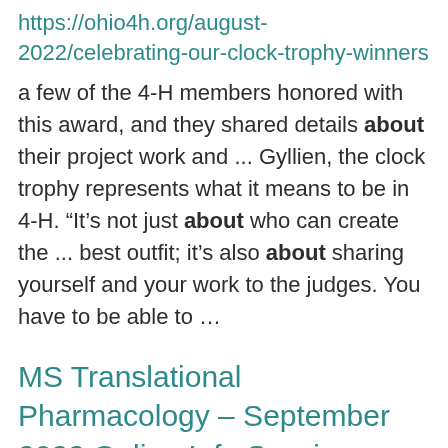https://ohio4h.org/august-2022/celebrating-our-clock-trophy-winners
a few of the 4-H members honored with this award, and they shared details about their project work and ... Gyllien, the clock trophy represents what it means to be in 4-H. “It’s not just about who can create the ... best outfit; it’s also about sharing yourself and your work to the judges. You have to be able to ...
MS Translational Pharmacology – September 2022 Online Info Session